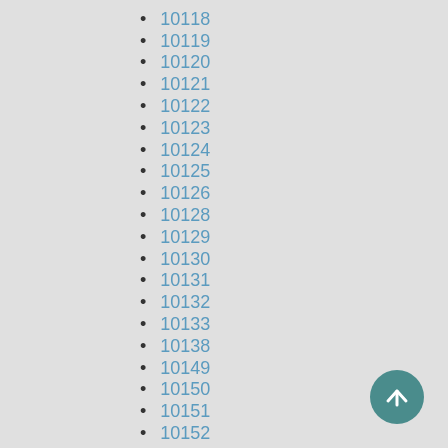10118
10119
10120
10121
10122
10123
10124
10125
10126
10128
10129
10130
10131
10132
10133
10138
10149
10150
10151
10152